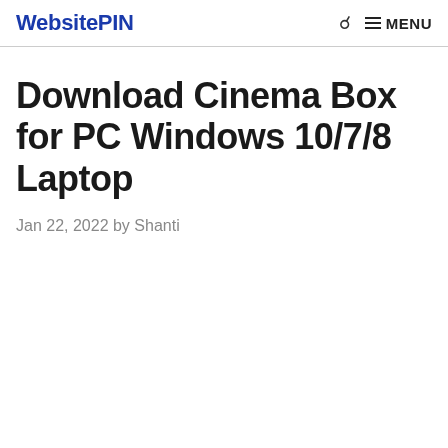WebsitePIN
Download Cinema Box for PC Windows 10/7/8 Laptop
Jan 22, 2022 by Shanti